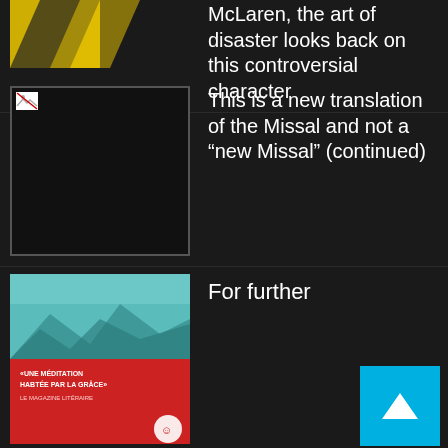[Figure (photo): Partial view of a yellow and black graphic (McLaren related), only lower portion visible at top of page]
McLaren, the art of disaster looks back on this controversial character
[Figure (photo): Broken image thumbnail with broken image icon, white border on dark background]
This is a new translation of the Missal and not a “new Missal” (continued)
[Figure (photo): Book cover with teal mountain landscape on top and red bottom panel with French text: «UNE MÉDITATION HABTÉE PAR LA GRÂCE» LE MAGAZINE LITÉRAIRE]
For further
[Figure (photo): Man in dark suit on TV screen with dark blue city background (night scene)]
VIDEO. Bonus for employees of the “second line”: “There will be an effect of disappointment”, fears the boss of Medef
[Figure (photo): Partial green landscape photo at bottom of page]
In Kerguelen, the puzzle of the